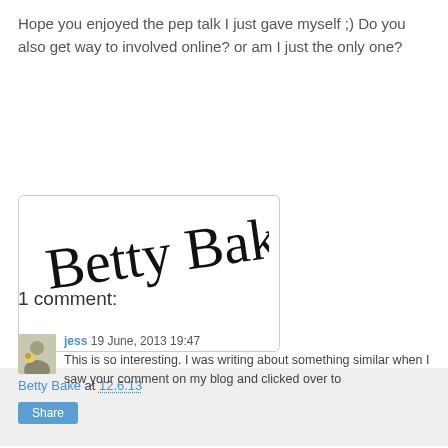Hope you enjoyed the pep talk I just gave myself ;) Do you also get way to involved online? or am I just the only one?
[Figure (logo): Handwritten cursive signature reading 'Betty Bake' in decorative script, inside a rounded-corner bordered box]
Betty Bake at 12.6.13
Share
1 comment:
jess 19 June, 2013 19:47
This is so interesting. I was writing about something similar when I saw your comment on my blog and clicked over to